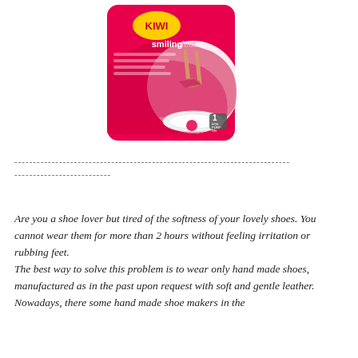[Figure (photo): KIWI Smiling Feet shoe insole product packaging, pink and white design with image of a woman's legs in heels and a shoe insole]
-------------------------------------------------------------------------- --------------------------
Are you a shoe lover but tired of the softness of your lovely shoes. You cannot wear them for more than 2 hours without feeling irritation or rubbing feet. The best way to solve this problem is to wear only hand made shoes, manufactured as in the past upon request with soft and gentle leather. Nowadays, there some hand made shoe makers in the